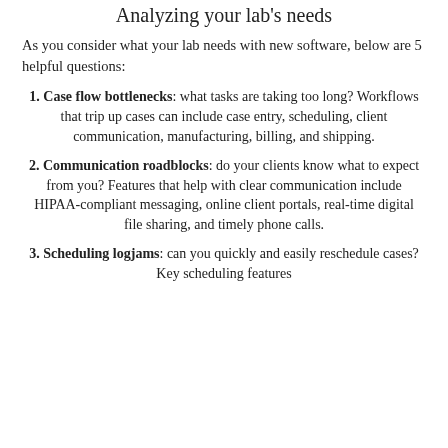Analyzing your lab's needs
As you consider what your lab needs with new software, below are 5 helpful questions:
1. Case flow bottlenecks: what tasks are taking too long? Workflows that trip up cases can include case entry, scheduling, client communication, manufacturing, billing, and shipping.
2. Communication roadblocks: do your clients know what to expect from you? Features that help with clear communication include HIPAA-compliant messaging, online client portals, real-time digital file sharing, and timely phone calls.
3. Scheduling logjams: can you quickly and easily reschedule cases? Key scheduling features